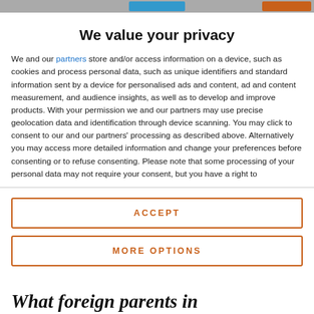We value your privacy
We and our partners store and/or access information on a device, such as cookies and process personal data, such as unique identifiers and standard information sent by a device for personalised ads and content, ad and content measurement, and audience insights, as well as to develop and improve products. With your permission we and our partners may use precise geolocation data and identification through device scanning. You may click to consent to our and our partners' processing as described above. Alternatively you may access more detailed information and change your preferences before consenting or to refuse consenting. Please note that some processing of your personal data may not require your consent, but you have a right to
ACCEPT
MORE OPTIONS
What foreign parents in